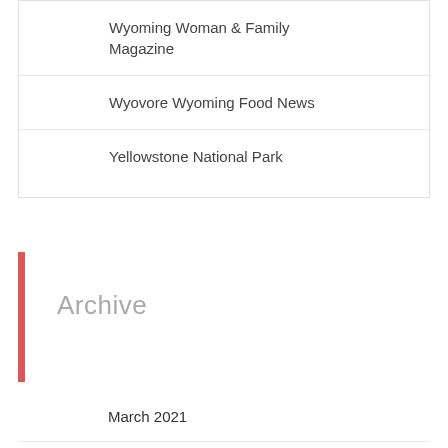Wyoming Woman & Family Magazine
Wyovore Wyoming Food News
Yellowstone National Park
Archive
March 2021
November 2020
August 2018
July 2018